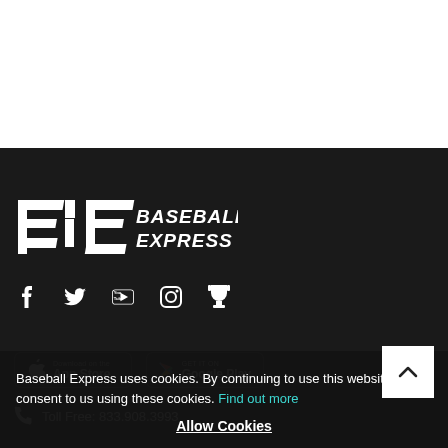[Figure (logo): Baseball Express logo — stylized 'BE' monogram with 'BASEBALL EXPRESS' wordmark in white on dark background]
Social icons: Facebook, Twitter, YouTube, Instagram, Trophy/Rewards
Download on the App Store | GET IT ON Google Play
Toll Free: 833.908.3993
Baseball Express uses cookies. By continuing to use this website, you consent to us using these cookies. Find out more
Allow Cookies